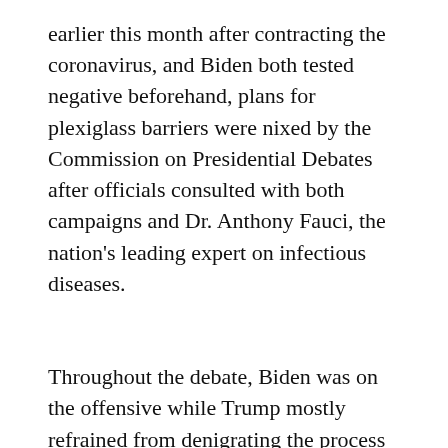earlier this month after contracting the coronavirus, and Biden both tested negative beforehand, plans for plexiglass barriers were nixed by the Commission on Presidential Debates after officials consulted with both campaigns and Dr. Anthony Fauci, the nation's leading expert on infectious diseases.
Throughout the debate, Biden was on the offensive while Trump mostly refrained from denigrating the process with uncontrolled talk.